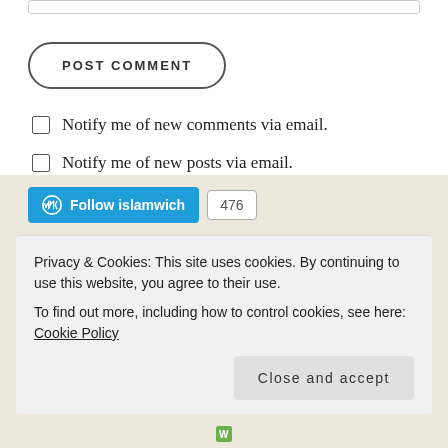[input box]
POST COMMENT
Notify me of new comments via email.
Notify me of new posts via email.
Follow islamwich 476
Privacy & Cookies: This site uses cookies. By continuing to use this website, you agree to their use.
To find out more, including how to control cookies, see here: Cookie Policy
Close and accept